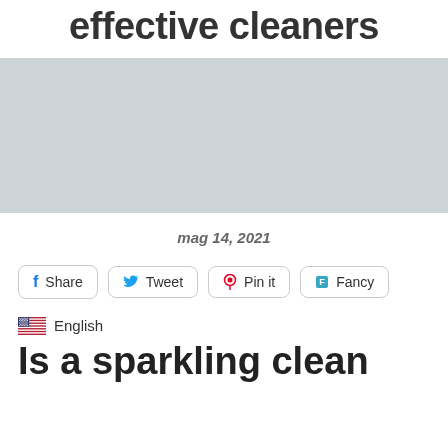effective cleaners
[Figure (photo): Gray placeholder image block for an article image]
mag 14, 2021
Share  Tweet  Pin it  Fancy
English
Is a sparkling clean